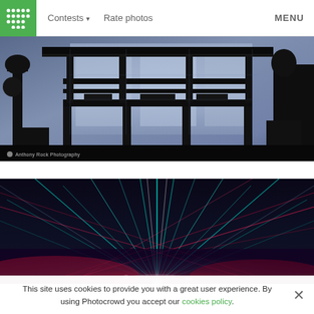Contests ▾  Rate photos  MENU
[Figure (photo): Dark silhouette of DJ equipment and stage rigging against a large blue-lit screen, concert stage setup with industrial scaffolding]
[Figure (photo): Colorful laser light show with beams of teal, blue and red radiating outward from center, concert or event lighting display]
This site uses cookies to provide you with a great user experience. By using Photocrowd you accept our cookies policy.